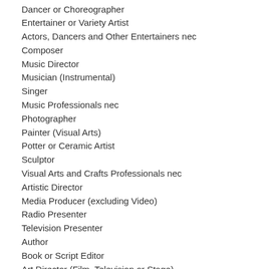Dancer or Choreographer
Entertainer or Variety Artist
Actors, Dancers and Other Entertainers nec
Composer
Music Director
Musician (Instrumental)
Singer
Music Professionals nec
Photographer
Painter (Visual Arts)
Potter or Ceramic Artist
Sculptor
Visual Arts and Crafts Professionals nec
Artistic Director
Media Producer (excluding Video)
Radio Presenter
Television Presenter
Author
Book or Script Editor
Art Director (Film, Television or Stage)
Director (Film, Television, Radio or Stage)
Director of Photography
Film and Video Editor